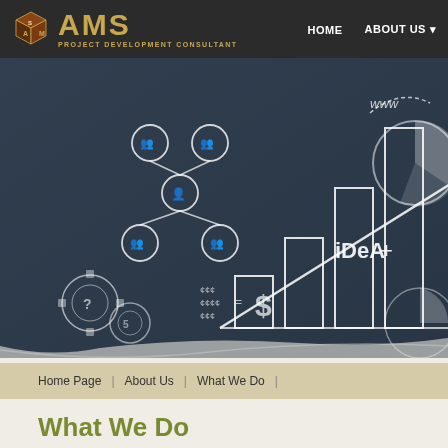AMS PROJECT DEVELOPMENT CONSULTANT — HOME | ABOUT US
[Figure (illustration): Hero banner showing a dark chalkboard-style illustration with bar chart, organizational chart, pie chart, gears, currency symbols, and 'iDeA' text drawn in white chalk style on a dark blue-grey background]
Home Page | About Us | What We Do
What We Do